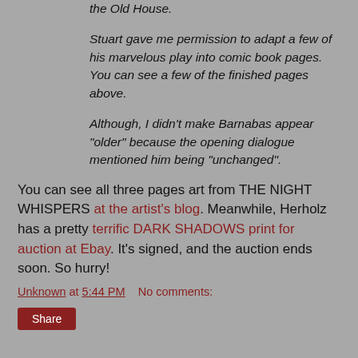the Old House.
Stuart gave me permission to adapt a few of his marvelous play into comic book pages. You can see a few of the finished pages above.
Although, I didn't make Barnabas appear "older" because the opening dialogue mentioned him being "unchanged".
You can see all three pages art from THE NIGHT WHISPERS at the artist's blog. Meanwhile, Herholz has a pretty terrific DARK SHADOWS print for auction at Ebay. It's signed, and the auction ends soon. So hurry!
Unknown at 5:44 PM    No comments:
Share
MONDAY, AUGUST 12, 2013
Book Report: WOLF MOON RISING